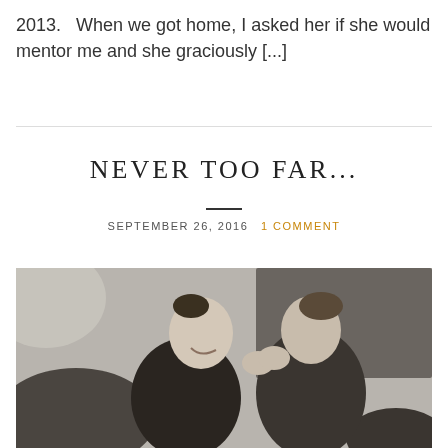2013.   When we got home, I asked her if she would mentor me and she graciously [...]
NEVER TOO FAR...
SEPTEMBER 26, 2016   1 COMMENT
[Figure (photo): Black and white photo of two women smiling and giving a high five, seated indoors near a wall with a board/panel behind them]